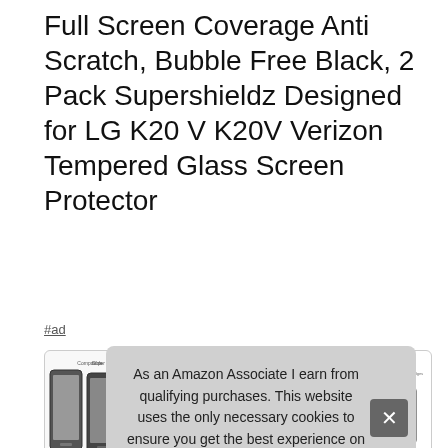Full Screen Coverage Anti Scratch, Bubble Free Black, 2 Pack Supershieldz Designed for LG K20 V K20V Verizon Tempered Glass Screen Protector
#ad
[Figure (photo): Four product images showing the LG K20V screen protector: phone compatibility view, rounded edges diagram, 9H hardness demonstration, and oleophobic coating demonstration.]
As an Amazon Associate I earn from qualifying purchases. This website uses the only necessary cookies to ensure you get the best experience on our website. More information
Sup...
orig...
scre...
the fingers and hand.